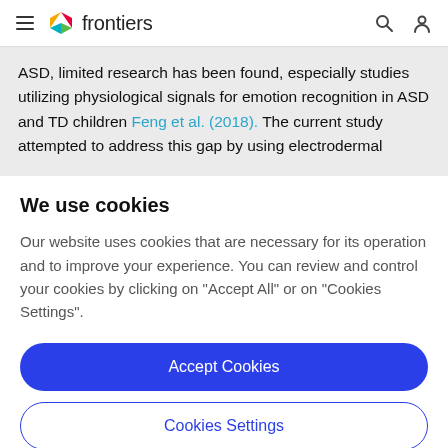frontiers
ASD, limited research has been found, especially studies utilizing physiological signals for emotion recognition in ASD and TD children Feng et al. (2018). The current study attempted to address this gap by using electrodermal
We use cookies
Our website uses cookies that are necessary for its operation and to improve your experience. You can review and control your cookies by clicking on "Accept All" or on "Cookies Settings".
Accept Cookies
Cookies Settings